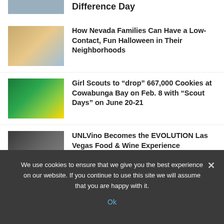Difference Day
[Figure (photo): Smiling man outdoors, colorful background]
How Nevada Families Can Have a Low-Contact, Fun Halloween in Their Neighborhoods
[Figure (photo): Cowabunga Bay Scout Days promotional image with kids on water ride]
Girl Scouts to “drop” 667,000 Cookies at Cowabunga Bay on Feb. 8 with “Scout Days” on June 20-21
[Figure (photo): Man in black apron in restaurant setting]
UNLVino Becomes the EVOLUTION Las Vegas Food & Wine Experience
We use cookies to ensure that we give you the best experience on our website. If you continue to use this site we will assume that you are happy with it.
Ok